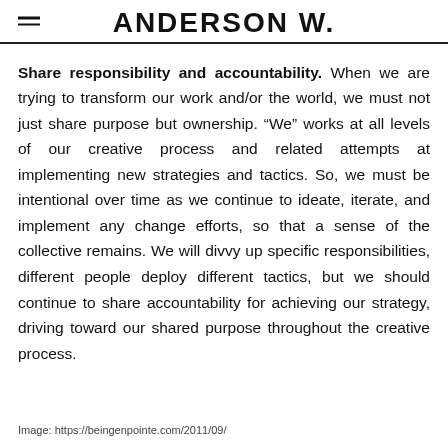ANDERSON W.
Share responsibility and accountability. When we are trying to transform our work and/or the world, we must not just share purpose but ownership. “We” works at all levels of our creative process and related attempts at implementing new strategies and tactics. So, we must be intentional over time as we continue to ideate, iterate, and implement any change efforts, so that a sense of the collective remains. We will divvy up specific responsibilities, different people deploy different tactics, but we should continue to share accountability for achieving our strategy, driving toward our shared purpose throughout the creative process.
Image: https://beingenpointe.com/2011/09/